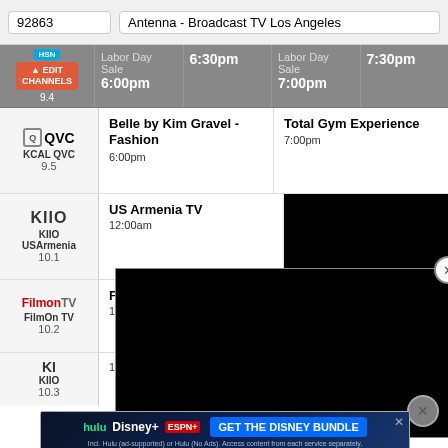92863   Antenna - Broadcast TV Los Angeles
| Channel | 6:00pm | 6:30pm | 7:00pm | 7:30pm |
| --- | --- | --- | --- | --- |
| HSN 9.4 (EDIT CHANNELS) | Labor Day Sale 6:00pm |  | Labor Day Sale 7:00pm |  |
| QVC KCAL QVC 9.5 | Belle by Kim Gravel - Fashion 6:00pm |  | Total Gym Experience 7:00pm |  |
| KIIO KIIO USArmenia 10.1 | US Armenia TV 12:00am |  |  |  |
| FilmOn TV FilmOn TV 10.2 | FilmOn TV Program 12:00am |  |  |  |
| KIIO 10.3 | 1:00am |  |  |  |
[Figure (screenshot): Black video player overlay with close buttons]
[Figure (infographic): Disney Bundle advertisement banner: hulu Disney+ ESPN+ GET THE DISNEY BUNDLE. Incl. Hulu (ad-supported) or Hulu (No Ads). Access content from each service separately. ©2021 Disney and its related entities.]